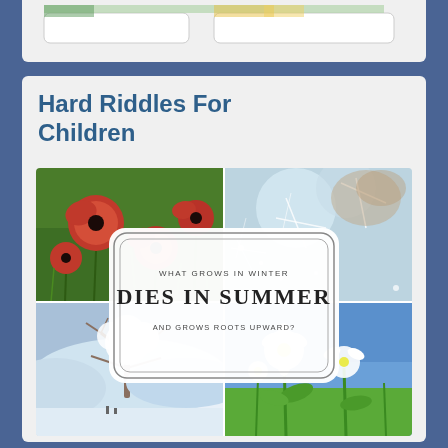[Figure (illustration): Partial view of a card from above with two button elements visible at top]
Hard Riddles For Children
[Figure (infographic): Four-quadrant photo collage showing red poppies (top-left), frost/ice crystals (top-right), snowy winter landscape with bare tree (bottom-left), white flowers against blue sky (bottom-right), with centered overlay card reading: WHAT GROWS IN WINTER / DIES IN SUMMER / AND GROWS ROOTS UPWARD?]